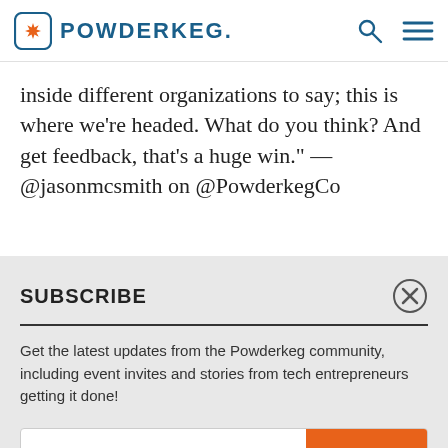POWDERKEG.
inside different organizations to say; this is where we're headed. What do you think? And get feedback, that's a huge win." — @jasonmcsmith on @PowderkegCo
SUBSCRIBE
Get the latest updates from the Powderkeg community, including event invites and stories from tech entrepreneurs getting it done!